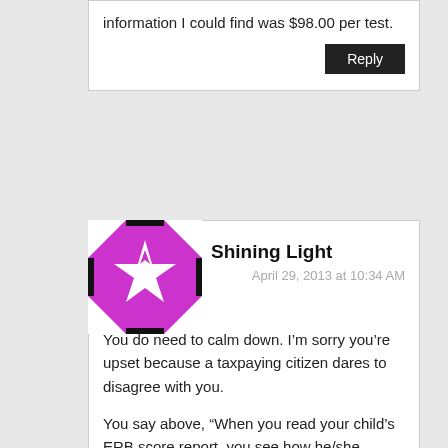information I could find was $98.00 per test.
Reply
Shining Light
April 29, 2013 at 10:34 AM
Anon2
You do need to calm down. I'm sorry you're upset because a taxpaying citizen dares to disagree with you.
You say above, “When you read your child’s ERB score report, you see how he/she measures up against comparable schools ( face it, CHS is a selective school by all measures)
How does this not fuel parents